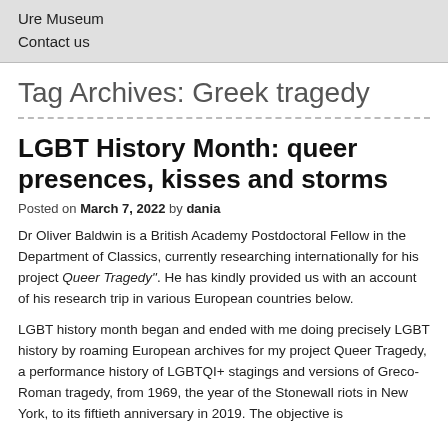Ure Museum
Contact us
Tag Archives: Greek tragedy
LGBT History Month: queer presences, kisses and storms
Posted on March 7, 2022 by dania
Dr Oliver Baldwin is a British Academy Postdoctoral Fellow in the Department of Classics, currently researching internationally for his project Queer Tragedy". He has kindly provided us with an account of his research trip in various European countries below.
LGBT history month began and ended with me doing precisely LGBT history by roaming European archives for my project Queer Tragedy, a performance history of LGBTQI+ stagings and versions of Greco-Roman tragedy, from 1969, the year of the Stonewall riots in New York, to its fiftieth anniversary in 2019. The objective is